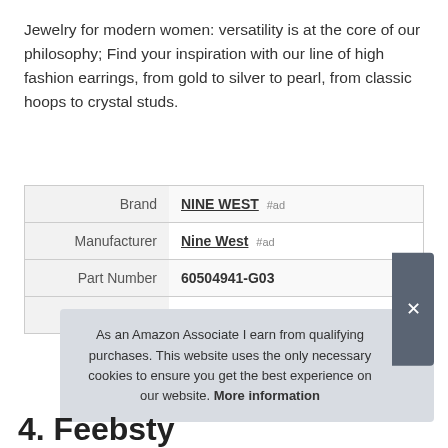Jewelry for modern women: versatility is at the core of our philosophy; Find your inspiration with our line of high fashion earrings, from gold to silver to pearl, from classic hoops to crystal studs.
|  |  |
| --- | --- |
| Brand | NINE WEST #ad |
| Manufacturer | Nine West #ad |
| Part Number | 60504941-G03 |
| Model | 60504941-G03 |
As an Amazon Associate I earn from qualifying purchases. This website uses the only necessary cookies to ensure you get the best experience on our website. More information
4. Feebsty